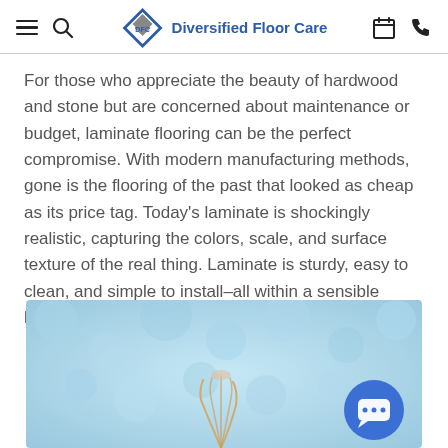Diversified Floor Care
For those who appreciate the beauty of hardwood and stone but are concerned about maintenance or budget, laminate flooring can be the perfect compromise. With modern manufacturing methods, gone is the flooring of the past that looked as cheap as its price tag. Today's laminate is shockingly realistic, capturing the colors, scale, and surface texture of the real thing. Laminate is sturdy, easy to clean, and simple to install–all within a sensible budget.
[Figure (photo): A blurred light blue background with bokeh dots and a feathery plant or flower visible at the bottom, partial view. A blue circular chat button overlaid in the bottom right.]